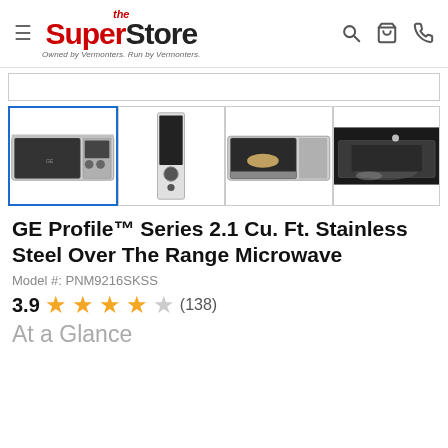the SuperStore — Owned by Vermonters. Run by Vermonters.
[Figure (photo): Product thumbnail 1: front view of GE Profile over-the-range microwave in stainless steel (selected, blue border)]
[Figure (photo): Product thumbnail 2: side/control panel view of GE Profile microwave]
[Figure (photo): Product thumbnail 3: microwave with door open showing interior with food bowl]
[Figure (photo): Product thumbnail 4: microwave in use above a range, dark kitchen background]
GE Profile™ Series 2.1 Cu. Ft. Stainless Steel Over The Range Microwave
Model #: PNM9216SKSS
3.9 ★★★★☆ (138)
At a Glance